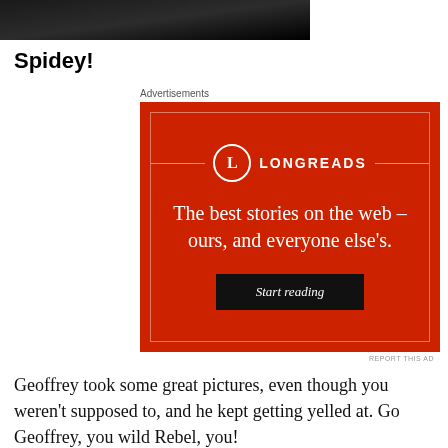[Figure (photo): Dark/black image at top of page, partially visible]
Spidey!
[Figure (infographic): Longreads advertisement on red background. Text: The best stories on the web – ours, and everyone else's. Start reading button.]
Geoffrey took some great pictures, even though you weren't supposed to, and he kept getting yelled at. Go Geoffrey, you wild Rebel, you!